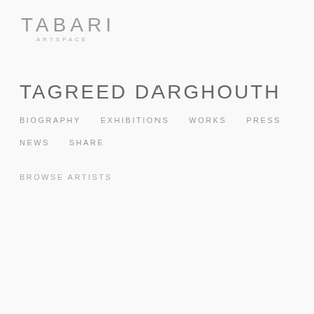[Figure (logo): Tabari Artspace logo with large TABARI text and ARTSPACE subtitle]
TAGREED DARGHOUTH
BIOGRAPHY   EXHIBITIONS   WORKS   PRESS
NEWS   SHARE
BROWSE ARTISTS